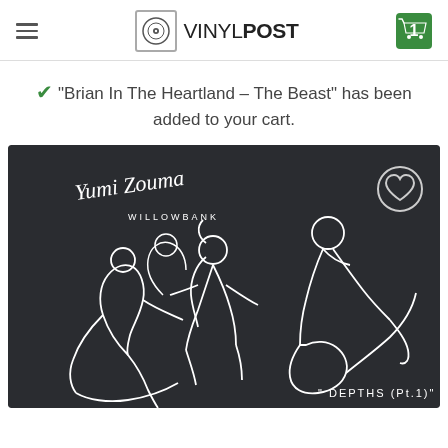VINYLPOST — navigation header with hamburger menu and cart badge showing 1
✓ "Brian In The Heartland – The Beast" has been added to your cart.
[Figure (illustration): Album cover for Yumi Zouma - Willowbank / Depths Pt.1: dark background with white line-art illustration of four musicians playing instruments, cursive Yumi Zouma logo top left, WILLOWBANK text below, heart icon top right, quote mark DEPTHS (Pt.1) bottom right. Heart wishlist button circle top-right corner.]